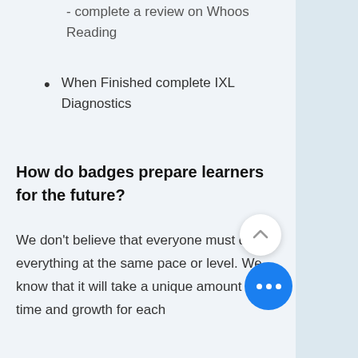- complete a review on Whoos Reading
When Finished complete IXL Diagnostics
How do badges prepare learners for the future?
We don't believe that everyone must do everything at the same pace or level. We know that it will take a unique amount of time and growth for each